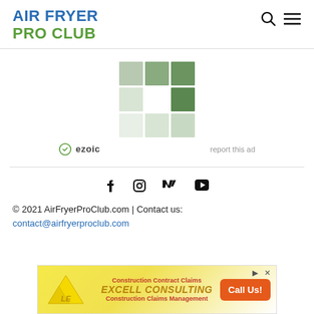AIR FRYER PRO CLUB
[Figure (logo): Ezoic ad placeholder with green tile grid logo and ezoic branding, with report this ad link]
© 2021 AirFryerProClub.com | Contact us: contact@airfryerproclub.com
[Figure (other): Excell Consulting advertisement banner - Construction Contract Claims, Construction Claims Management, Call Us! button]